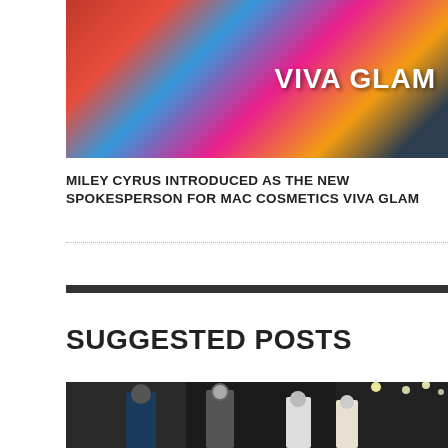[Figure (photo): Miley Cyrus in a colorful floral outfit with VIVA GLAM text overlay in white bold letters on a dark background]
MILEY CYRUS INTRODUCED AS THE NEW SPOKESPERSON FOR MAC COSMETICS VIVA GLAM
SUGGESTED POSTS
[Figure (photo): Fashion runway scene with models wearing winter coats and turtlenecks, dark dramatic lighting with bright spotlights in background]